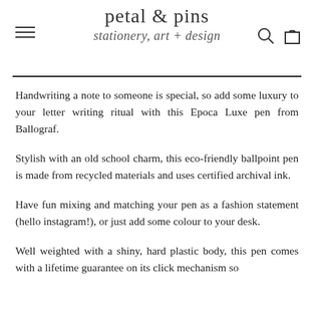petal & pins — stationery, art + design
Handwriting a note to someone is special, so add some luxury to your letter writing ritual with this Epoca Luxe pen from Ballograf.
Stylish with an old school charm, this eco-friendly ballpoint pen is made from recycled materials and uses certified archival ink.
Have fun mixing and matching your pen as a fashion statement (hello instagram!), or just add some colour to your desk.
Well weighted with a shiny, hard plastic body, this pen comes with a lifetime guarantee on its click mechanism so